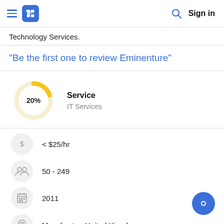Navigation header with hamburger menu, logo, search, and Sign in
Technology Services.
"Be the first one to review Eminenture"
[Figure (donut-chart): Donut chart showing 20% for IT Services]
< $25/hr
50 - 249
2011
Manchester, United Kingdom